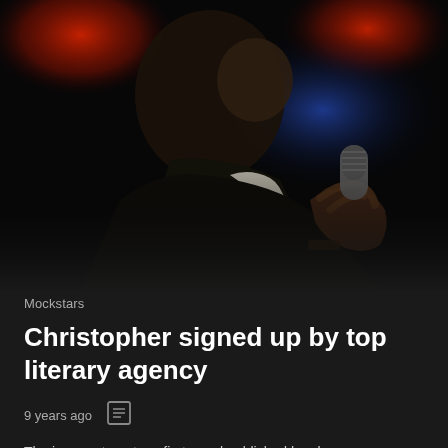[Figure (photo): A man in a dark suit holding a microphone close to his mouth, photographed from the side/below in dramatic dark lighting with red and blue stage lights visible in the background.]
Mockstars
Christopher signed up by top literary agency
9 years ago
The journey to get my first novel published has been an